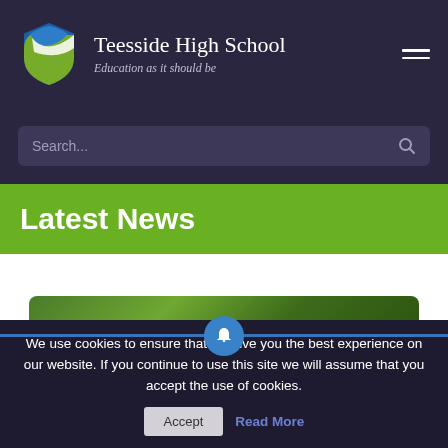Teesside High School — Education as it should be
Search...
Latest News
[Figure (photo): Green foliage/hedge photo strip at top of news card]
A-level Results Day 2022
We use cookies to ensure that we give you the best experience on our website. If you continue to use this site we will assume that you accept the use of cookies.